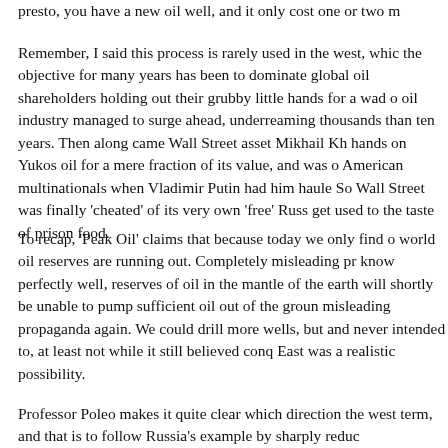presto, you have a new oil well, and it only cost one or two m
Remember, I said this process is rarely used in the west, whic the objective for many years has been to dominate global oil shareholders holding out their grubby little hands for a wad o oil industry managed to surge ahead, underreaming thousands than ten years. Then along came Wall Street asset Mikhail Kh hands on Yukos oil for a mere fraction of its value, and was o American multinationals when Vladimir Putin had him haule So Wall Street was finally 'cheated' of its very own 'free' Russ get used to the taste of prison food.
To recap, 'Peak Oil' claims that because today we only find o world oil reserves are running out. Completely misleading pr know perfectly well, reserves of oil in the mantle of the earth will shortly be unable to pump sufficient oil out of the groun misleading propaganda again. We could drill more wells, but and never intended to, at least not while it still believed conq East was a realistic possibility.
Professor Poleo makes it quite clear which direction the west term, and that is to follow Russia's example by sharply reduc